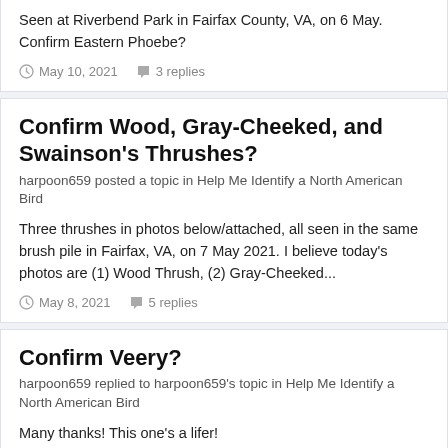Seen at Riverbend Park in Fairfax County, VA, on 6 May. Confirm Eastern Phoebe?
May 10, 2021   3 replies
Confirm Wood, Gray-Cheeked, and Swainson's Thrushes?
harpoon659 posted a topic in Help Me Identify a North American Bird
Three thrushes in photos below/attached, all seen in the same brush pile in Fairfax, VA, on 7 May 2021. I believe today's photos are (1) Wood Thrush, (2) Gray-Cheeked...
May 8, 2021   5 replies
Confirm Veery?
harpoon659 replied to harpoon659's topic in Help Me Identify a North American Bird
Many thanks! This one's a lifer!